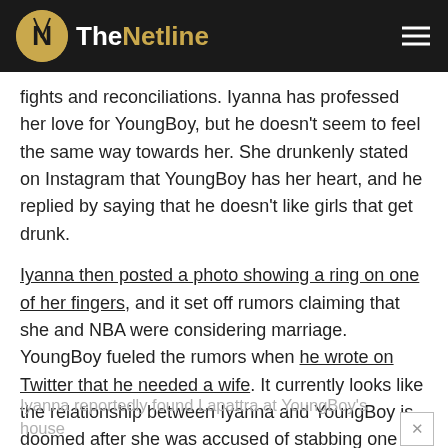TheNetline
fights and reconciliations. Iyanna has professed her love for YoungBoy, but he doesn't seem to feel the same way towards her. She drunkenly stated on Instagram that YoungBoy has her heart, and he replied by saying that he doesn't like girls that get drunk.
Iyanna then posted a photo showing a ring on one of her fingers, and it set off rumors claiming that she and NBA were considering marriage. YoungBoy fueled the rumors when he wrote on Twitter that he needed a wife. It currently looks like the relationship between Iyanna and YoungBoy is doomed after she was accused of stabbing one of YoungBoy's baby mamas, Lapattra.
Iyanna reportedly found Lapattra at YoungBoy's house